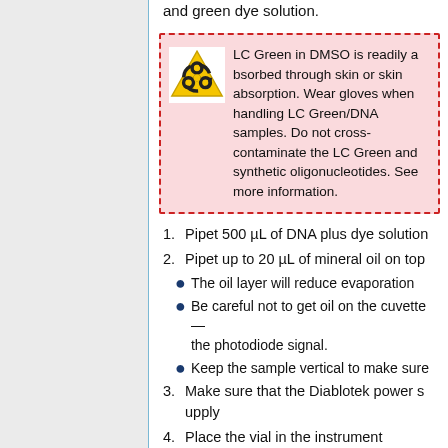and green dye solution.
LC Green in DMSO is readily absorbed through skin or skin absorption. Wear gloves when handling LC Green/DNA samples. Do not cr... the LC Green and synthetic olig... more information.
1. Pipet 500 µL of DNA plus dye solution
2. Pipet up to 20 µL of mineral oil on top
• The oil layer will reduce evaporat...
• Be careful not to get oil on the cu... the photodiode signal.
• Keep the sample vertical to make...
3. Make sure that the Diablotek power s...
4. Place the vial in the instrument
• To reduce bleaching, keep the LB...
5. Open and run the Basic DNA Melter
6. Confirm that sample block temperatu...
7. Turn on the Diablotek power supply ...
8. Attempt to hold the temperature at S...